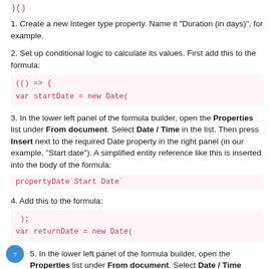)()
1. Create a new Integer type property. Name it "Duration (in days)", for example.
2. Set up conditional logic to calculate its values. First add this to the formula:
3. In the lower left panel of the formula builder, open the Properties list under From document. Select Date / Time in the list. Then press Insert next to the required Date property in the right panel (in our example, "Start date"). A simplified entity reference like this is inserted into the body of the formula:
4. Add this to the formula:
5. In the lower left panel of the formula builder, open the Properties list under From document. Select Date / Time...